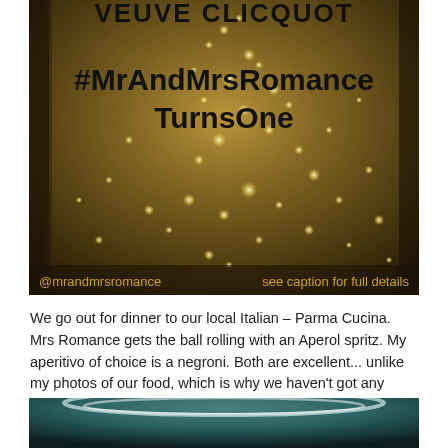[Figure (photo): Close-up photograph of champagne bubbles rising in a glass, with dark golden/amber tones. Overlaid text reads '#MrAndMrsRomanceTurnsOne' in bold black, and at bottom left '@mrandmrsromance' and bottom right 'see caption for full details' in orange/gold text. Partial text at top reads 'VEUVE CLICQUOT'.]
We go out for dinner to our local Italian – Parma Cucina. Mrs Romance gets the ball rolling with an Aperol spritz. My aperitivo of choice is a negroni. Both are excellent... unlike my photos of our food, which is why we haven't got any pics.
[Figure (photo): Partial photo showing what appears to be a close-up of a dark teal/green rounded object, possibly a cocktail glass or similar, against a dark background.]